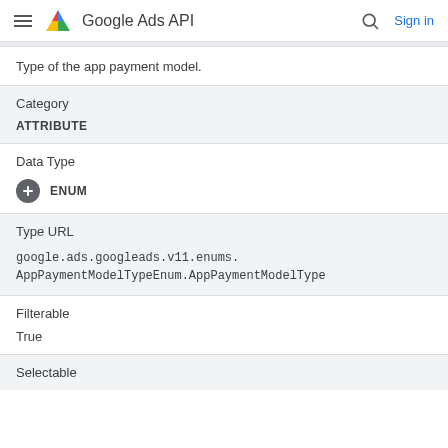Google Ads API
Type of the app payment model.
| Category | ATTRIBUTE |
| --- | --- |
| Data Type | ENUM |
| --- | --- |
| Type URL | google.ads.googleads.v11.enums.AppPaymentModelTypeEnum.AppPaymentModelType |
| --- | --- |
| Filterable | True |
| --- | --- |
| Selectable |
| --- |